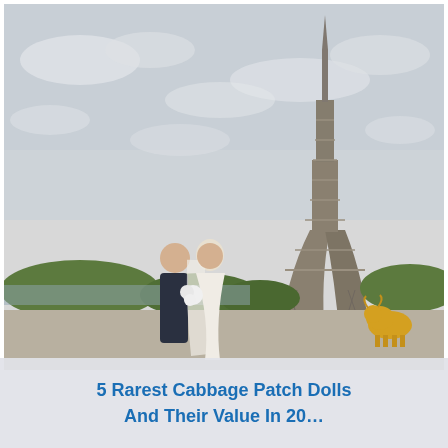[Figure (photo): Wedding couple embracing in front of the Eiffel Tower in Paris. The bride wears a white dress and veil and holds a bouquet. The groom wears a dark suit. A yellow decorative bull statue is visible near the base of the Eiffel Tower. Overcast sky with trees and city in background.]
5 Rarest Cabbage Patch Dolls And Their Value In 20...